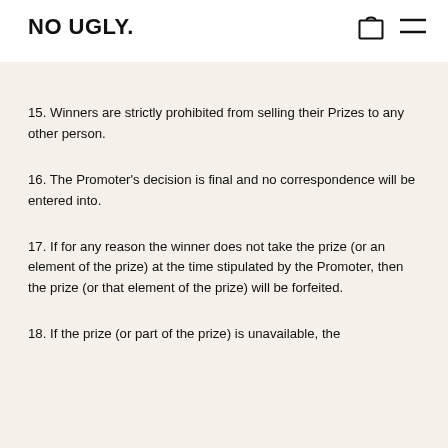NO UGLY.
15. Winners are strictly prohibited from selling their Prizes to any other person.
16. The Promoter's decision is final and no correspondence will be entered into.
17. If for any reason the winner does not take the prize (or an element of the prize) at the time stipulated by the Promoter, then the prize (or that element of the prize) will be forfeited.
18. If the prize (or part of the prize) is unavailable, the